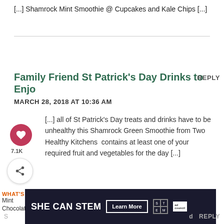[...] Shamrock Mint Smoothie @ Cupcakes and Kale Chips [...]
Family Friend St Patrick's Day Drinks to Enjo
MARCH 28, 2018 AT 10:36 AM
[...] all of St Patrick's Day treats and drinks have to be unhealthy this Shamrock Green Smoothie from Two Healthy Kitchens contains at least one of your required fruit and vegetables for the day [...]
WHAT'S NEXT → Mint Chocolate...
[Figure (illustration): Advertisement banner: SHE CAN STEM with Learn More button and STEM/Ad Council logos on dark background]